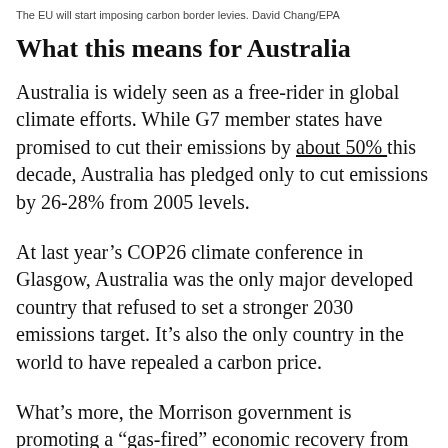The EU will start imposing carbon border levies. David Chang/EPA
What this means for Australia
Australia is widely seen as a free-rider in global climate efforts. While G7 member states have promised to cut their emissions by about 50% this decade, Australia has pledged only to cut emissions by 26-28% from 2005 levels.
At last year’s COP26 climate conference in Glasgow, Australia was the only major developed country that refused to set a stronger 2030 emissions target. It’s also the only country in the world to have repealed a carbon price.
What’s more, the Morrison government is promoting a “gas-fired” economic recovery from the COVID pandemic. It continues to promote coal and gas exports, despite the EU’s plans…